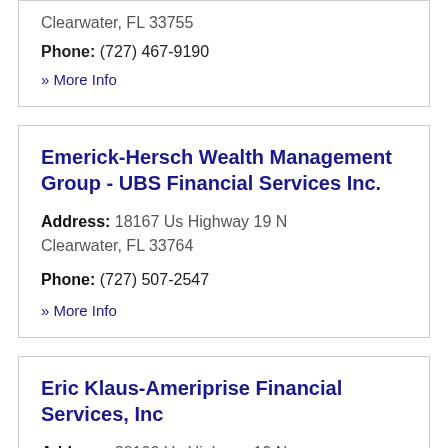Clearwater, FL 33755
Phone: (727) 467-9190
» More Info
Emerick-Hersch Wealth Management Group - UBS Financial Services Inc.
Address: 18167 Us Highway 19 N Clearwater, FL 33764
Phone: (727) 507-2547
» More Info
Eric Klaus-Ameriprise Financial Services, Inc
Address: 28100 Us Highway 19 N